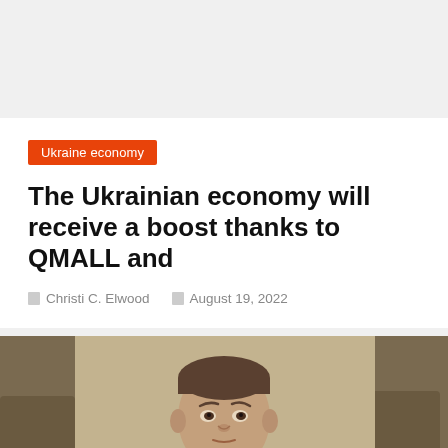Ukraine economy
The Ukrainian economy will receive a boost thanks to QMALL and
Christi C. Elwood   August 19, 2022
[Figure (photo): Man in a plaid blazer seated at a desk, looking forward, with wooden chairs visible in the background.]